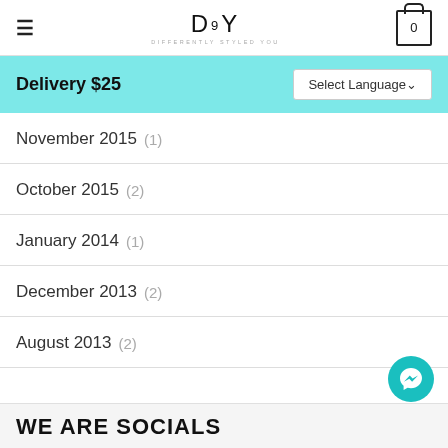DSY — Differently Styled You — Cart: 0
Delivery $25 | Select Language
November 2015 (1)
October 2015 (2)
January 2014 (1)
December 2013 (2)
August 2013 (2)
WE ARE SOCIALS